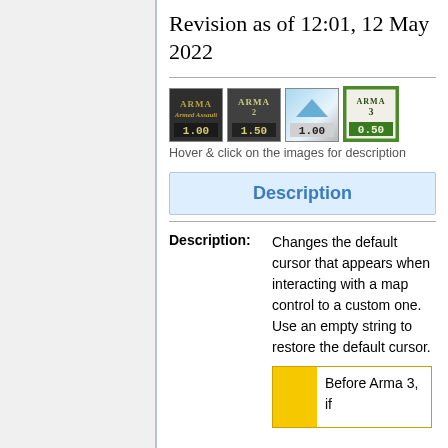Revision as of 12:01, 12 May 2022
[Figure (other): Four version badge images: Arma 1 (1.00), Arma 2 (1.50), OFP (1.00), Arma 3 (0.50)]
Hover & click on the images for description
Description
| Description: | Changes the default cursor that appears when interacting with a map control to a custom one. Use an empty string to restore the default cursor. |
Before Arma 3, if